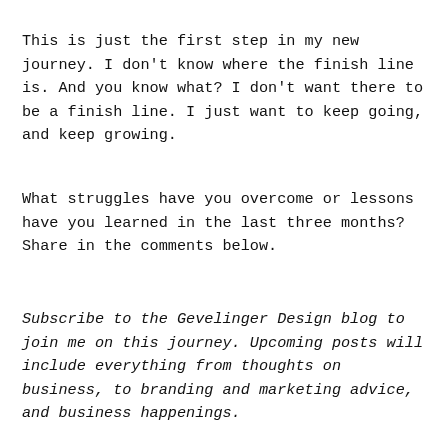This is just the first step in my new journey. I don't know where the finish line is. And you know what? I don't want there to be a finish line. I just want to keep going, and keep growing.
What struggles have you overcome or lessons have you learned in the last three months? Share in the comments below.
Subscribe to the Gevelinger Design blog to join me on this journey. Upcoming posts will include everything from thoughts on business, to branding and marketing advice, and business happenings.